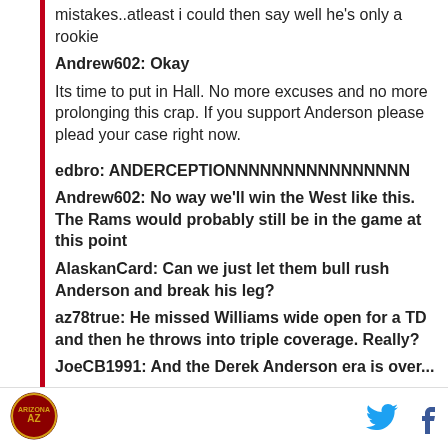mistakes..atleast i could then say well he's only a rookie
Andrew602: Okay
Its time to put in Hall. No more excuses and no more prolonging this crap. If you support Anderson please plead your case right now.
edbro: ANDERCEPTIONNNNNNNNNNNNNNNN
Andrew602: No way we'll win the West like this. The Rams would probably still be in the game at this point
AlaskanCard: Can we just let them bull rush Anderson and break his leg?
az78true: He missed Williams wide open for a TD and then he throws into triple coverage. Really?
JoeCB1991: And the Derek Anderson era is over...
JoeCB1991: I'd be fine if he played in his dance clothes right now...
[Figure (logo): Sports team logo, circular, red and gold colors]